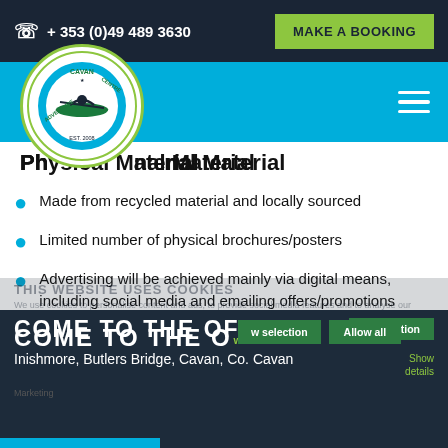+ 353 (0)49 489 3630   MAKE A BOOKING
[Figure (logo): Cavan Adventure Centre circular logo, Est. 2008, with kayaker illustration]
Physical Material
Made from recycled material and locally sourced
Limited number of physical brochures/posters
Advertising will be achieved mainly via digital means, including social media and emailing offers/promotions
COME TO THE OFFICE
Inishmore, Butlers Bridge, Cavan, Co. Cavan
THIS WEBSITE USES COOKIES
We use cookies to personalise content and ads, to provide social media features and to analyse our traffic. We also share information about your use of our site with our social media, advertising and analytics partners who may combine it with other information that you've provided to them or that they've collected from your use of their services.
Allow selection   Allow all
Show details   Marketing